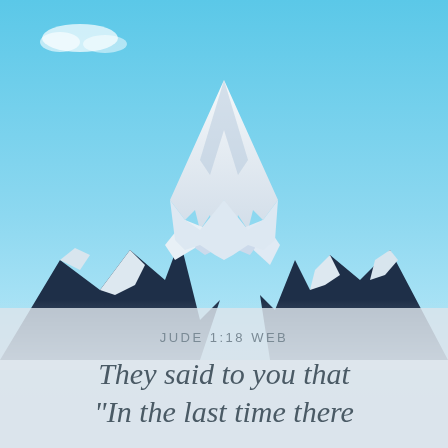[Figure (photo): A snow-capped mountain peak against a bright blue sky with a few small clouds. The mountain has dramatic rocky dark ridges with heavy white snow and ice on the upper portions. The lower portion fades into a misty white/gray foreground.]
JUDE 1:18 WEB
They said to you that "In the last time there